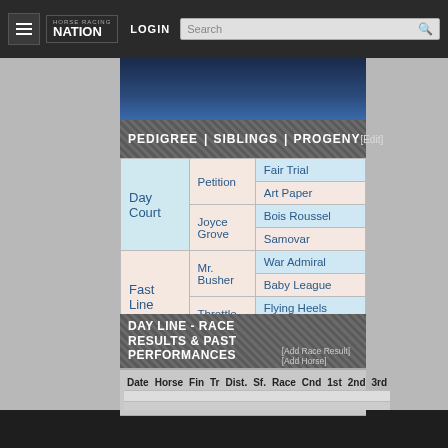HORSE RACING NATION | LOGIN | Search
PEDIGREE | SIBLINGS | PROGENY [Edit]
|  |  |  |
| --- | --- | --- |
| Day Court | Petition | Fair Trial |
| Day Court | Petition | Art Paper |
| Day Court | Joyce Grove | Bois Roussel |
| Day Court | Joyce Grove | Samovar |
| Fast Line | Mr. Busher | War Admiral |
| Fast Line | Mr. Busher | Baby League |
| Fast Line | Throttle Wide | Flying Heels |
| Fast Line | Throttle Wide | Let Her Fly |
DAY LINE - RACE RESULTS & PAST PERFORMANCES [Add Race Result][Add Horse]
| Date | Horse | Fin | Tr | Dist. | Sf. | Race | Cnd | 1st | 2nd | 3rd |
| --- | --- | --- | --- | --- | --- | --- | --- | --- | --- | --- |